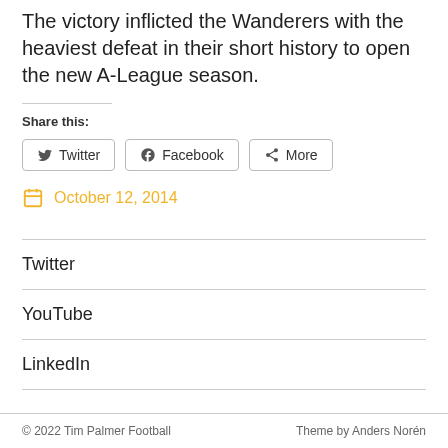The victory inflicted the Wanderers with the heaviest defeat in their short history to open the new A-League season.
Share this:
Twitter | Facebook | More
October 12, 2014
Twitter
YouTube
LinkedIn
© 2022 Tim Palmer Football   Theme by Anders Norén